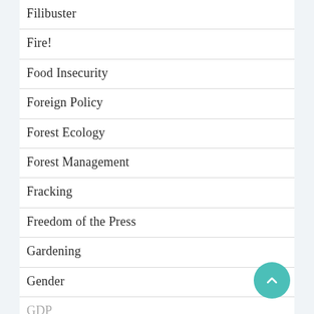Filibuster
Fire!
Food Insecurity
Foreign Policy
Forest Ecology
Forest Management
Fracking
Freedom of the Press
Gardening
Gender
GDP